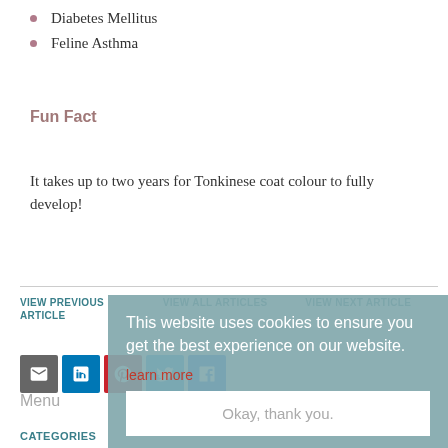Diabetes Mellitus
Feline Asthma
Fun Fact
It takes up to two years for Tonkinese coat colour to fully develop!
VIEW PREVIOUS ARTICLE   VIEW ALL ARTICLES   VIEW NEXT ARTICLE
This website uses cookies to ensure you get the best experience on our website.
learn more
Okay, thank you.
Menu
CATEGORIES